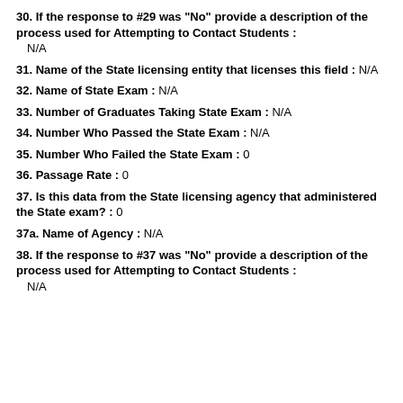30. If the response to #29 was "No" provide a description of the process used for Attempting to Contact Students : N/A
31. Name of the State licensing entity that licenses this field : N/A
32. Name of State Exam : N/A
33. Number of Graduates Taking State Exam : N/A
34. Number Who Passed the State Exam : N/A
35. Number Who Failed the State Exam : 0
36. Passage Rate : 0
37. Is this data from the State licensing agency that administered the State exam? : 0
37a. Name of Agency : N/A
38. If the response to #37 was "No" provide a description of the process used for Attempting to Contact Students : N/A